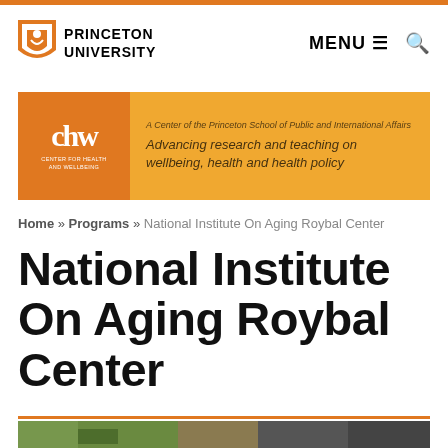PRINCETON UNIVERSITY | MENU ≡ 🔍
[Figure (logo): Center for Health and Wellbeing (CHW) banner — orange background, CHW logo on left, tagline: A Center of the Princeton School of Public and International Affairs. Advancing research and teaching on wellbeing, health and health policy]
Home » Programs » National Institute On Aging Roybal Center
National Institute On Aging Roybal Center
[Figure (photo): Partial view of a photo at bottom of page — green plants on left, dark/indoor scene on right]